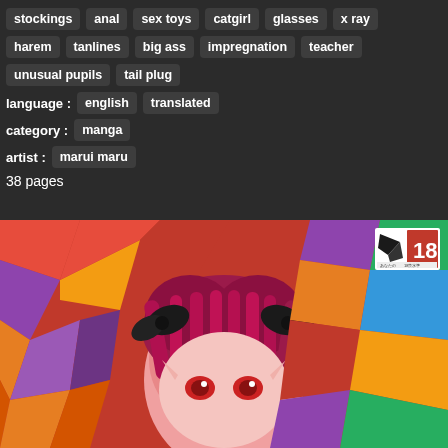stockings  anal  sex toys  catgirl  glasses  x ray
harem  tanlines  big ass  impregnation  teacher
unusual pupils  tail plug
language :  english  translated
category :  manga
artist :  marui maru
38 pages
[Figure (illustration): Anime-style illustration of a girl with short pink/red hair, red eyes, pointed ears, and black bow accessories, set against a colorful stained-glass geometric background in reds, oranges, purples, and greens. An age-restriction badge (18) is visible in the upper right corner.]